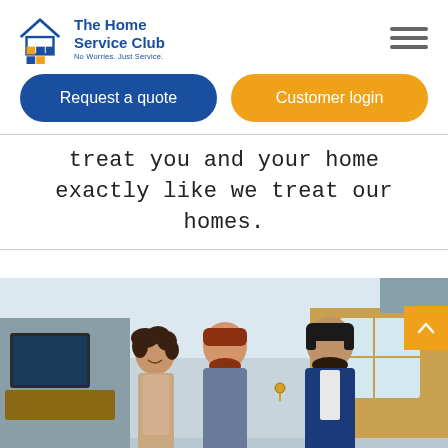[Figure (logo): The Home Service Club logo with house icon and colored squares, tagline 'No Worries. Just Service.']
[Figure (other): Hamburger menu icon (three horizontal lines)]
Request a quote
Customer login
treat you and your home exactly like we treat our homes.
[Figure (photo): A smiling couple being handed keys by a suited real estate agent or home service professional in a living room setting. A scroll-to-top orange button with an up arrow is visible on the right edge.]